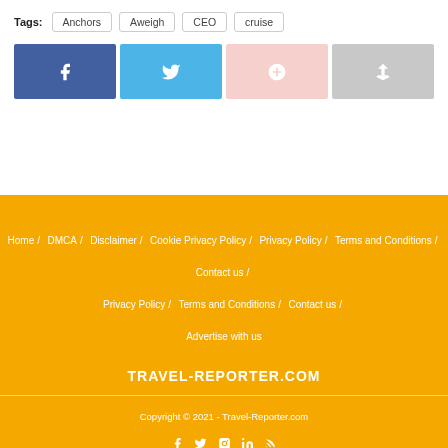Tags: Anchors / Aweigh / CEO / cruise
[Figure (infographic): Four social share buttons: Facebook (dark blue), Twitter (light blue), Google+ (light pink), Share (light gray), each with respective icons]
Home / DMCA / Disclaimer / Cookie Privacy Policy / Privacy Policy / Terms and Conditions / Contact us / Advertise with us
TRAVEL-REPORTER.COM
Copyright © 2021 - Travel-Reporter.com
[Figure (infographic): Social media icons: Facebook, Twitter, Instagram, LinkedIn, RSS]